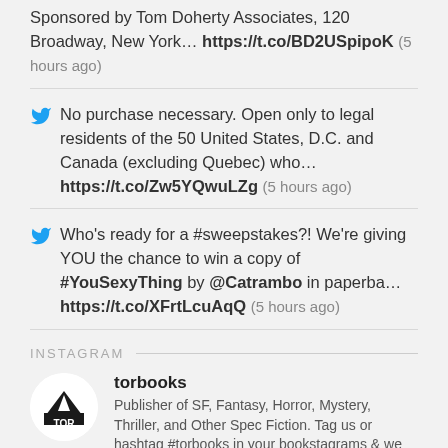Sponsored by Tom Doherty Associates, 120 Broadway, New York… https://t.co/BD2USpipoK (5 hours ago)
No purchase necessary. Open only to legal residents of the 50 United States, D.C. and Canada (excluding Quebec) who… https://t.co/Zw5YQwuLZg (5 hours ago)
Who's ready for a #sweepstakes?! We're giving YOU the chance to win a copy of #YouSexyThing by @Catrambo in paperba… https://t.co/XFrtLcuAqQ (5 hours ago)
INSTAGRAM
torbooks
Publisher of SF, Fantasy, Horror, Mystery, Thriller, and Other Spec Fiction. Tag us or hashtag #torbooks in your bookstagrams & we might repost them!